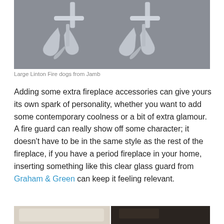[Figure (photo): Two large polished nickel/chrome fire dogs (andirons) with curved legs photographed against a grey background]
Large Linton Fire dogs from Jamb
Adding some extra fireplace accessories can give yours its own spark of personality, whether you want to add some contemporary coolness or a bit of extra glamour. A fire guard can really show off some character; it doesn’t have to be in the same style as the rest of the fireplace, if you have a period fireplace in your home, inserting something like this clear glass guard from Graham & Green can keep it feeling relevant.
[Figure (photo): Partial view of two images side by side at the bottom of the page - left shows a light colored upholstered chair/sofa, right shows a darker interior scene]